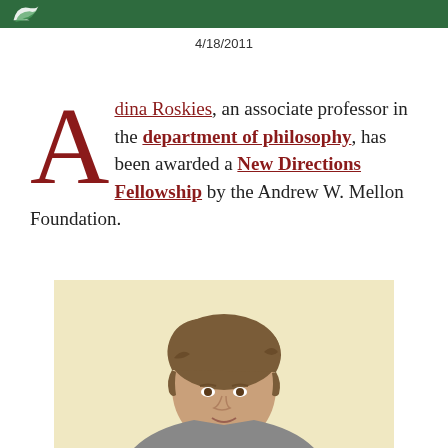4/18/2011
Adina Roskies, an associate professor in the department of philosophy, has been awarded a New Directions Fellowship by the Andrew W. Mellon Foundation.
[Figure (photo): Portrait photograph of Adina Roskies, showing head and shoulders against a light background]